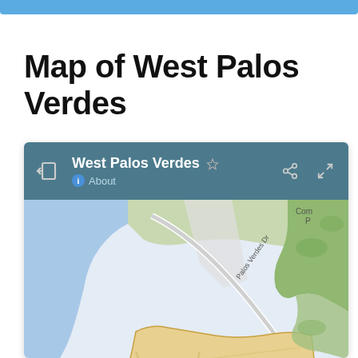Map of West Palos Verdes
[Figure (map): Google Maps screenshot showing West Palos Verdes area with map header bar showing 'West Palos Verdes', share and expand icons, and an 'About' info link. The map shows the coastal area with Palos Verdes Dr road, a highlighted yellow/tan region for West Palos Verdes, blue ocean to the left, green park areas, and 'Los Verdes Go' (golf course) label at the bottom right.]